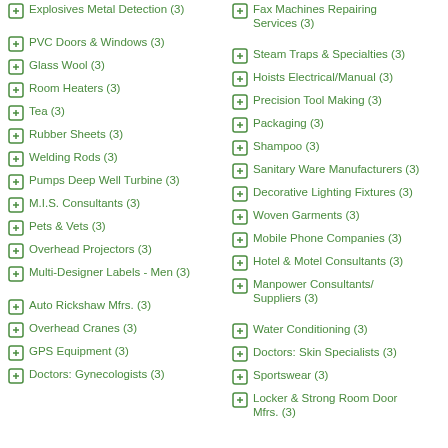Explosives Metal Detection (3)
Fax Machines Repairing Services (3)
PVC Doors & Windows (3)
Steam Traps & Specialties (3)
Glass Wool (3)
Hoists Electrical/Manual (3)
Room Heaters (3)
Precision Tool Making (3)
Tea (3)
Packaging (3)
Rubber Sheets (3)
Shampoo (3)
Welding Rods (3)
Sanitary Ware Manufacturers (3)
Pumps Deep Well Turbine (3)
Decorative Lighting Fixtures (3)
M.I.S. Consultants (3)
Woven Garments (3)
Pets & Vets (3)
Mobile Phone Companies (3)
Overhead Projectors (3)
Hotel & Motel Consultants (3)
Multi-Designer Labels - Men (3)
Manpower Consultants/Suppliers (3)
Auto Rickshaw Mfrs. (3)
Water Conditioning (3)
Overhead Cranes (3)
Doctors: Skin Specialists (3)
GPS Equipment (3)
Sportswear (3)
Doctors: Gynecologists (3)
Locker & Strong Room Door Mfrs. (3)